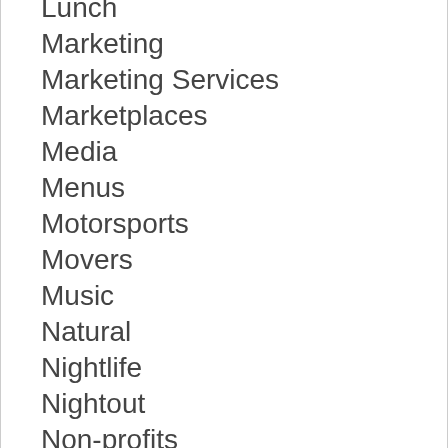Lunch
Marketing
Marketing Services
Marketplaces
Media
Menus
Motorsports
Movers
Music
Natural
Nightlife
Nightout
Non-profits
Office Space
Oil Changes